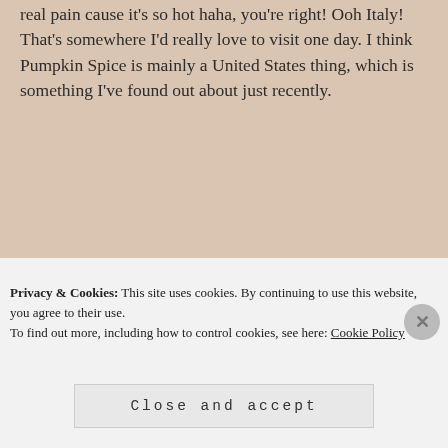real pain cause it’s so hot haha, you’re right! Ooh Italy! That’s somewhere I’d really love to visit one day. I think Pumpkin Spice is mainly a United States thing, which is something I’ve found out about just recently.
★ Liked by 1 person
REPLY
Camilla @ Reader in the Attic
SEPTEMBER 18, 2017 AT 10:24 AM
It’s unfair to do not have pumpikin spice, really 😠 But I must say that my country is progressing.
Privacy & Cookies: This site uses cookies. By continuing to use this website, you agree to their use.
To find out more, including how to control cookies, see here: Cookie Policy
Close and accept